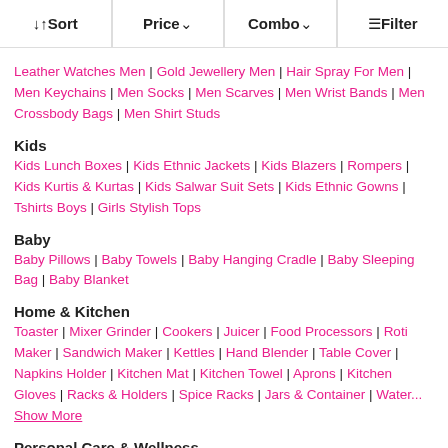↓↑ Sort | Price ∨ | Combo ∨ | ≡ Filter
Leather Watches Men | Gold Jewellery Men | Hair Spray For Men | Men Keychains | Men Socks | Men Scarves | Men Wrist Bands | Men Crossbody Bags | Men Shirt Studs
Kids
Kids Lunch Boxes | Kids Ethnic Jackets | Kids Blazers | Rompers | Kids Kurtis & Kurtas | Kids Salwar Suit Sets | Kids Ethnic Gowns | Tshirts Boys | Girls Stylish Tops
Baby
Baby Pillows | Baby Towels | Baby Hanging Cradle | Baby Sleeping Bag | Baby Blanket
Home & Kitchen
Toaster | Mixer Grinder | Cookers | Juicer | Food Processors | Roti Maker | Sandwich Maker | Kettles | Hand Blender | Table Cover | Napkins Holder | Kitchen Mat | Kitchen Towel | Aprons | Kitchen Gloves | Racks & Holders | Spice Racks | Jars & Container | Water... Show More
Personal Care & Wellness
Tummy trimmer | Makeup Kits | Hair Color | Hair Steamers | Hair